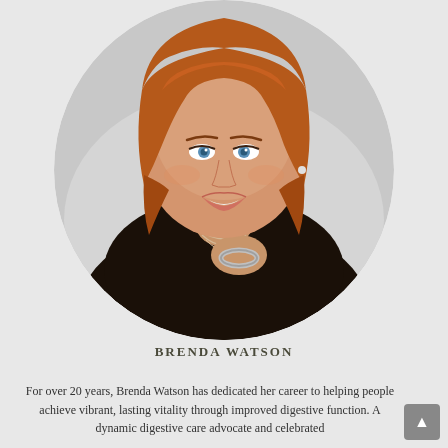[Figure (photo): Portrait photo of Brenda Watson, a woman with short auburn/red hair and blue eyes, wearing a black top, resting her chin on her hand with a bracelet visible, smiling. Photo is displayed in a circular crop against a light gray background.]
BRENDA WATSON
For over 20 years, Brenda Watson has dedicated her career to helping people achieve vibrant, lasting vitality through improved digestive function. A dynamic digestive care advocate and celebrated